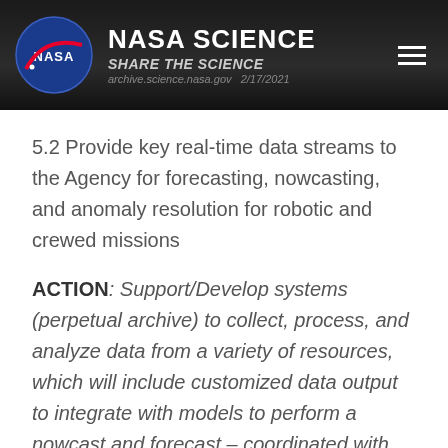NASA SCIENCE SHARE THE SCIENCE — 2/17/2021
5.2 Provide key real-time data streams to the Agency for forecasting, nowcasting, and anomaly resolution for robotic and crewed missions
ACTION: Support/Develop systems (perpetual archive) to collect, process, and analyze data from a variety of resources, which will include customized data output to integrate with models to perform a nowcast and forecast – coordinated with the Archive Strategy. Develop a NASA Ground Station Network with international partners to support real time data streams from including deep space missions